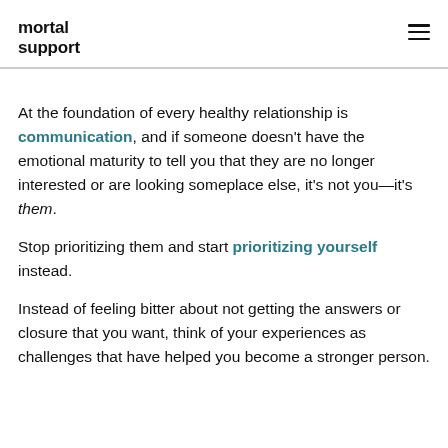mortal support
At the foundation of every healthy relationship is communication, and if someone doesn't have the emotional maturity to tell you that they are no longer interested or are looking someplace else, it's not you—it's them.
Stop prioritizing them and start prioritizing yourself instead.
Instead of feeling bitter about not getting the answers or closure that you want, think of your experiences as challenges that have helped you become a stronger person.